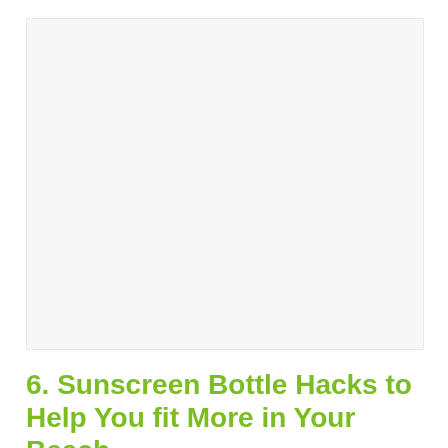[Figure (photo): Large white/light grey placeholder image area representing a photograph]
6. Sunscreen Bottle Hacks to Help You fit More in Your Beach